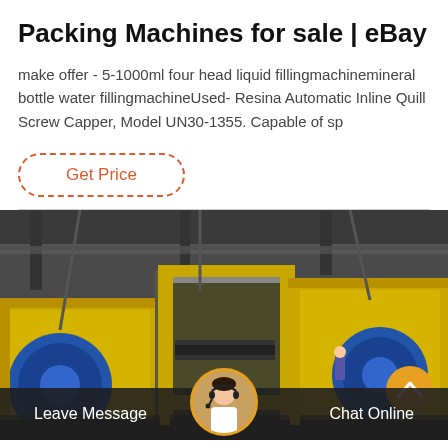Packing Machines for sale | eBay
make offer - 5-1000ml four head liquid fillingmachinemineral bottle water fillingmachineUsed- Resina Automatic Inline Quill Screw Capper, Model UN30-1355. Capable of sp
[Figure (other): Get Price button with dashed orange border]
[Figure (photo): Industrial packing machine in yellow and blue in a factory setting]
Leave Message
Chat Online